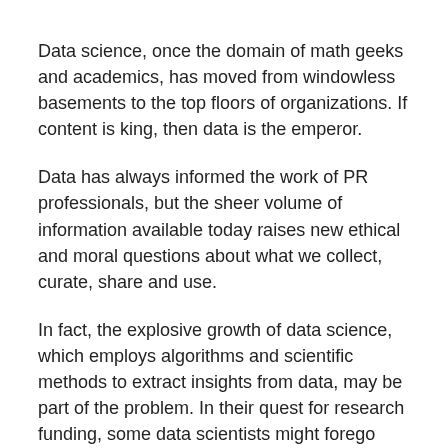Data science, once the domain of math geeks and academics, has moved from windowless basements to the top floors of organizations. If content is king, then data is the emperor.
Data has always informed the work of PR professionals, but the sheer volume of information available today raises new ethical and moral questions about what we collect, curate, share and use.
In fact, the explosive growth of data science, which employs algorithms and scientific methods to extract insights from data, may be part of the problem. In their quest for research funding, some data scientists might forego scientific rigor and ethical considerations. Analyzing this tension in an October 2017 article on Forbes.com, Kalev H. Leetaru, a senior fellow at the George Washington University Center for Cyber & Homeland Security, wrote that if data scientists don't ethically consider potential